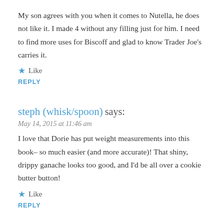My son agrees with you when it comes to Nutella, he does not like it. I made 4 without any filling just for him. I need to find more uses for Biscoff and glad to know Trader Joe's carries it.
★ Like
REPLY
steph (whisk/spoon) says:
May 14, 2015 at 11:46 am
I love that Dorie has put weight measurements into this book– so much easier (and more accurate)! That shiny, drippy ganache looks too good, and I'd be all over a cookie butter button!
★ Like
REPLY
alisahuntsman says:
May 14, 2015 at 5:28 pm
the weights really did make a difference for me this time-measuring